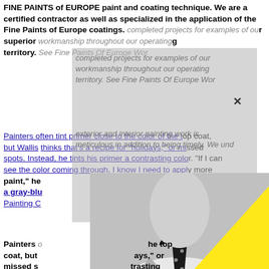FINE PAINTS of EUROPE paint and coating technique. We are a certified contractor as well as specialized in the application of the Fine Paints of Europe coatings. completed projects for examples of our superior workmanship throughout our operating territory. See Fine Paints Of Europe Wor [X] Painters often tint primer close to the color of the top coat, but Wallis thinks that's a recipe for "holidays," or missed spots. Instead, he tints his primer a contrasting color. "If I can see the color coming through, I know I need to apply more paint," he [chose a gray-blu [House Painting C] Painters o [he top coat, but ays," or missed s rasting color. "If I know I need to a age shown in r to go under a peach top coat. That doesn't mean we sacrifice quality for the sake of time. Our exterior and interior painting work is meticulous in addition to being timely. We understand that you have a busy life, and we're trying to help you maintain your regular schedule. That's why we make sure our residential painting services in Ridgefield and
[Figure (photo): Black and white photo of a man in a suit and polka-dot tie, with a large yellow triangle overlaid in the lower right portion of the image. A gray semi-transparent overlay with a close (X) button is also present.]